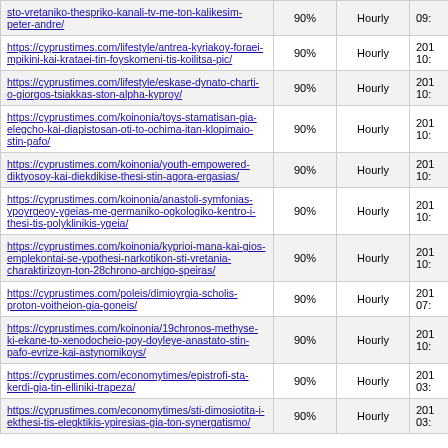| URL | Priority | Change Freq | Last Modified |
| --- | --- | --- | --- |
| sto-vretaniko-thespriko-kanali-tv-me-ton-kalikesim-peter-andre/ | 90% | Hourly | 09: |
| https://cyprustimes.com/lifestyle/antrea-kyriakoy-foraei-mpikini-kai-krataei-tin-foyskomeni-tis-koilitsa-pic/ | 90% | Hourly | 201
10: |
| https://cyprustimes.com/lifestyle/eskase-dynato-charti-o-giorgos-tsiakkas-ston-alpha-kyproy/ | 90% | Hourly | 201
10: |
| https://cyprustimes.com/koinonia/toys-stamatisan-gia-elegcho-kai-diapistosan-oti-to-ochima-itan-klopimaio-stin-pafo/ | 90% | Hourly | 201
10: |
| https://cyprustimes.com/koinonia/youth-empowered-diktyosoy-kai-diekdikise-thesi-stin-agora-ergasias/ | 90% | Hourly | 201
10: |
| https://cyprustimes.com/koinonia/anastoli-symfonias-ypoyrgeoy-ygeias-me-germaniko-ogkologiko-kentro-i-thesi-tis-polyklinikis-ygeia/ | 90% | Hourly | 201
10: |
| https://cyprustimes.com/koinonia/kyprioi-mana-kai-gios-emplekontai-se-ypothesi-narkotikon-sti-vretania-charaktirizoyn-ton-28chrono-archigo-speiras/ | 90% | Hourly | 201
10: |
| https://cyprustimes.com/poleis/dimioyrgia-scholis-proton-voitheion-gia-goneis/ | 90% | Hourly | 201
07: |
| https://cyprustimes.com/koinonia/19chronos-methyse-ki-ekane-to-xenodocheio-poy-doyleye-anastato-stin-pafo-evrize-kai-astynomikoys/ | 90% | Hourly | 201
10: |
| https://cyprustimes.com/economytimes/epistrofi-sta-kerdi-gia-tin-elliniki-trapeza/ | 90% | Hourly | 201
03: |
| https://cyprustimes.com/economytimes/sti-dimosiotita-i-ekthesi-tis-elegktikis-ypiresias-gia-ton-synergatismo/ | 90% | Hourly | 201
03: |